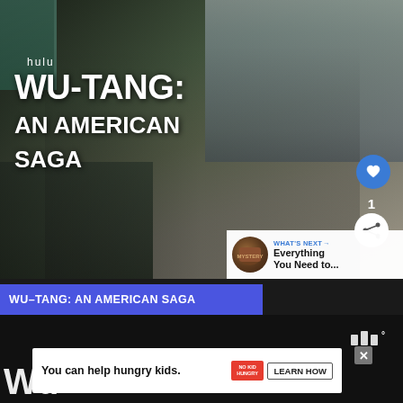[Figure (photo): Promotional image for Hulu series 'WU-TANG: AN AMERICAN SAGA' showing several men walking in an urban setting near a subway entrance with city buildings in the background. White bold text overlaid on the left side reads 'hulu' and 'WU-TANG: AN AMERICAN SAGA'. Interactive heart/like and share buttons visible on the right side. A 'WHAT'S NEXT' panel at bottom right shows a thumbnail and text 'Everything You Need to...']
WU-TANG: AN AMERICAN SAGA
WHAT'S NEXT → Everything You Need to...
WU-TANG: AN AMERICAN SAGA
Wu-
You can help hungry kids. NO KID HUNGRY LEARN HOW